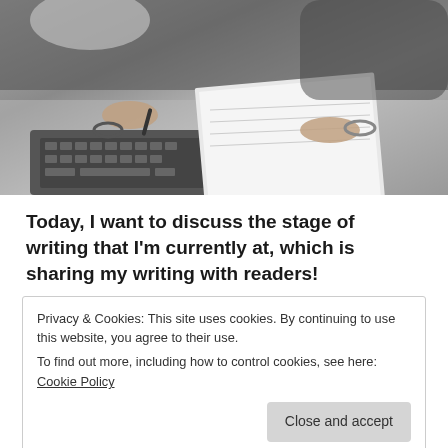[Figure (photo): Black and white photograph of two people at a desk, one writing in a notebook with a pen and wearing bracelets, the other pointing at the notebook. A laptop keyboard is visible in the foreground.]
Today, I want to discuss the stage of writing that I'm currently at, which is sharing my writing with readers!
Privacy & Cookies: This site uses cookies. By continuing to use this website, you agree to their use.
To find out more, including how to control cookies, see here: Cookie Policy
Close and accept
enjoyed it, which is amazing to hear